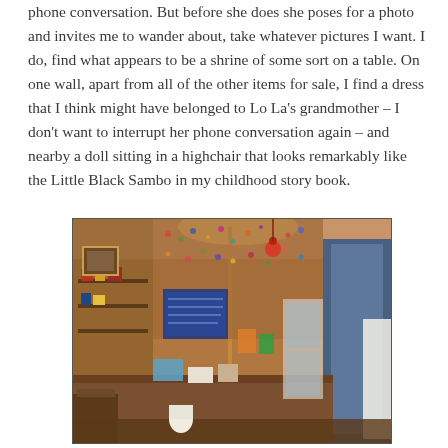phone conversation. But before she does she poses for a photo and invites me to wander about, take whatever pictures I want. I do, find what appears to be a shrine of some sort on a table. On one wall, apart from all of the other items for sale, I find a dress that I think might have belonged to Lo La's grandmother – I don't want to interrupt her phone conversation again – and nearby a doll sitting in a highchair that looks remarkably like the Little Black Sambo in my childhood story book.
[Figure (photo): Interior of a cluttered shop or store with walls covered in colorful items, shelves with merchandise, warm overhead lighting, tables with goods, and a blue door frame visible on the right side.]